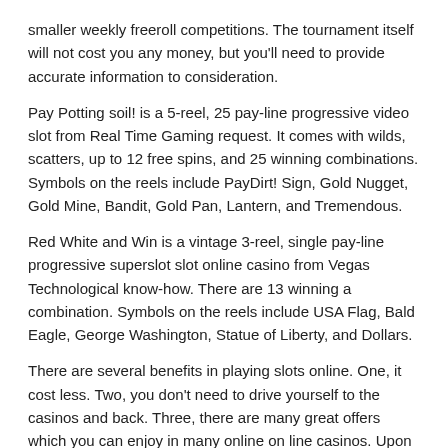smaller weekly freeroll competitions. The tournament itself will not cost you any money, but you'll need to provide accurate information to consideration.
Pay Potting soil! is a 5-reel, 25 pay-line progressive video slot from Real Time Gaming request. It comes with wilds, scatters, up to 12 free spins, and 25 winning combinations. Symbols on the reels include PayDirt! Sign, Gold Nugget, Gold Mine, Bandit, Gold Pan, Lantern, and Tremendous.
Red White and Win is a vintage 3-reel, single pay-line progressive superslot slot online casino from Vegas Technological know-how. There are 13 winning a combination. Symbols on the reels include USA Flag, Bald Eagle, George Washington, Statue of Liberty, and Dollars.
There are several benefits in playing slots online. One, it cost less. Two, you don't need to drive yourself to the casinos and back. Three, there are many great offers which you can enjoy in many online on line casinos. Upon signing up, new registrations may have the ability to acquire freebies and sometime an initial amount for bankroll. Fourth, online slots are very simple to fool around with. Spinning is just dependent on a click of the mouse all time. You can select pay lines, adjust your bets, and spend using only your computer.
If may however your intention perform it big, then is advisable choose well the web site where you want to play big countrywide clean energy. Given the actuality that you possibly be playing based on pure luck (or